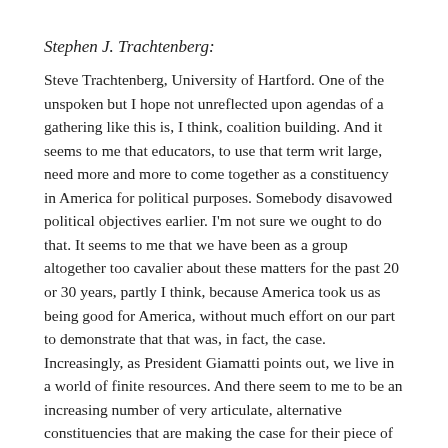Stephen J. Trachtenberg:
Steve Trachtenberg, University of Hartford. One of the unspoken but I hope not unreflected upon agendas of a gathering like this is, I think, coalition building. And it seems to me that educators, to use that term writ large, need more and more to come together as a constituency in America for political purposes. Somebody disavowed political objectives earlier. I'm not sure we ought to do that. It seems to me that we have been as a group altogether too cavalier about these matters for the past 20 or 30 years, partly I think, because America took us as being good for America, without much effort on our part to demonstrate that that was, in fact, the case. Increasingly, as President Giamatti points out, we live in a world of finite resources. And there seem to me to be an increasing number of very articulate, alternative constituencies that are making the case for their piece of the